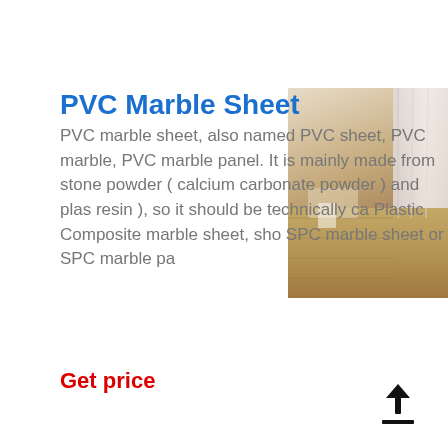PVC Marble Sheet
PVC marble sheet, also named PVC sheet, PVC marble, PVC marble panel. It is mainly made from stone powder ( calcium carbonate powder ) and plas resin ), so it should be technically ca Plastic Composite marble sheet, sho SPC marble sheet or SPC marble pa
[Figure (photo): Photo of a room interior with wood-look flooring and curtains in background]
Get price